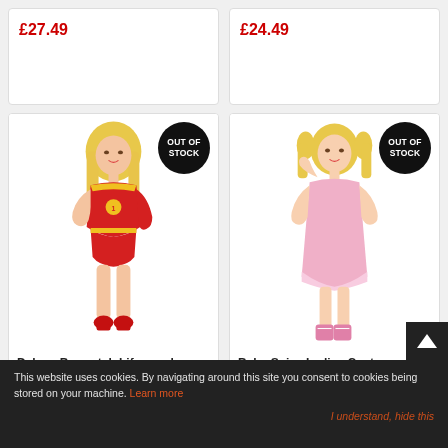£27.49
£24.49
[Figure (photo): Woman wearing a red Baywatch lifeguard costume with yellow trim, with an OUT OF STOCK badge]
Deluxe Baywatch Lifeguard Costume
[Figure (photo): Woman wearing a pink Baby Spice dress costume with pink boots, with an OUT OF STOCK badge]
Baby Spice Ladies Costume
This website uses cookies. By navigating around this site you consent to cookies being stored on your machine. Learn more
I understand, hide this